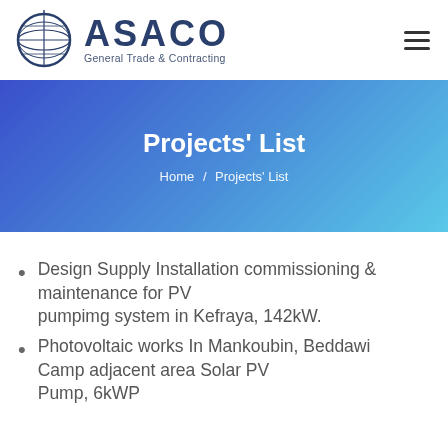ASACO General Trade & Contracting
Projects' List
Home / Projects' List
Design Supply Installation commissioning & maintenance for PV pumpimg system in Kefraya, 142kW.
Photovoltaic works In Mankoubin, Beddawi Camp adjacent area Solar PV Pump, 6kWP